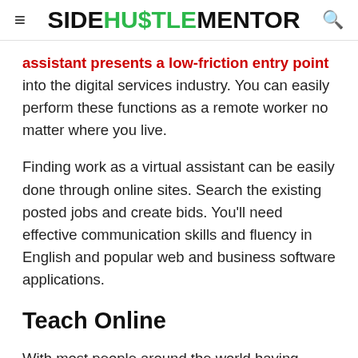≡ SIDEHU$TLEMENTOR 🔍
assistant presents a low-friction entry point into the digital services industry. You can easily perform these functions as a remote worker no matter where you live.
Finding work as a virtual assistant can be easily done through online sites. Search the existing posted jobs and create bids. You'll need effective communication skills and fluency in English and popular web and business software applications.
Teach Online
With most people around the world having access to a digital device where you can communicate and